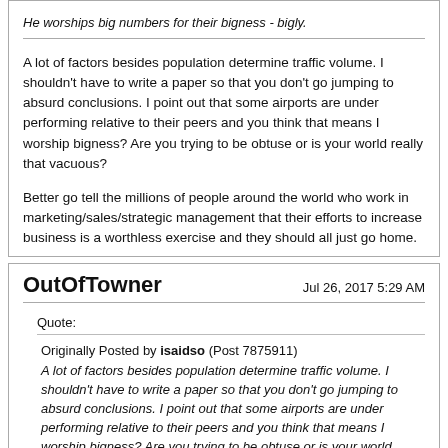He worships big numbers for their bigness - bigly.
A lot of factors besides population determine traffic volume. I shouldn't have to write a paper so that you don't go jumping to absurd conclusions. I point out that some airports are under performing relative to their peers and you think that means I worship bigness? Are you trying to be obtuse or is your world really that vacuous?
Better go tell the millions of people around the world who work in marketing/sales/strategic management that their efforts to increase business is a worthless exercise and they should all just go home.
OutOfTowner
Jul 26, 2017 5:29 AM
Quote:
Originally Posted by isaidso (Post 7875911) A lot of factors besides population determine traffic volume. I shouldn't have to write a paper so that you don't go jumping to absurd conclusions. I point out that some airports are under performing relative to their peers and you think that means I worship bigness? Are you trying to be obtuse or is your world really that vacuous? Better go tell the millions of people around the world who work in marketing/sales/strategic management that their efforts to increase business is a worthless exercise and they should all just go home.